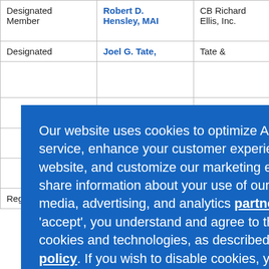| Type | Name | Company | Address |
| --- | --- | --- | --- |
| Designated Member | Robert D. Hensley, MAI | CB Richard Ellis, Inc. | California Boulevard Suite 300 |
| Designated | Joel G. Tate, | Tate & | 1625 Grac... |
| Registrant | Dean |  | 96 F |
Our website uses cookies to optimize Appraisal Institute's service, enhance your customer experience, improve our website, and customize our marketing efforts. We also share information about your use of our site with our social media, advertising, and analytics partners. By clicking 'accept', you understand and agree to the use of these cookies and technologies, as described in our cookie policy. If you wish to disable cookies, you can read about how to do that here: